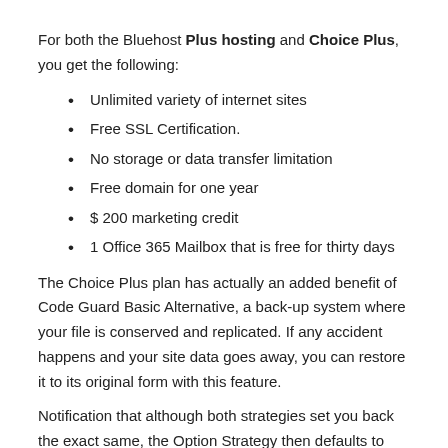For both the Bluehost Plus hosting and Choice Plus, you get the following:
Unlimited variety of internet sites
Free SSL Certification.
No storage or data transfer limitation
Free domain for one year
$ 200 marketing credit
1 Office 365 Mailbox that is free for thirty days
The Choice Plus plan has actually an added benefit of Code Guard Basic Alternative, a back-up system where your file is conserved and replicated. If any accident happens and your site data goes away, you can restore it to its original form with this feature.
Notification that although both strategies set you back the exact same, the Option Strategy then defaults to $14.99 per month,